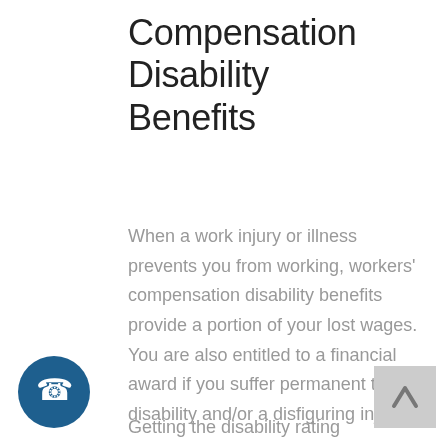Compensation Disability Benefits
When a work injury or illness prevents you from working, workers' compensation disability benefits provide a portion of your lost wages. You are also entitled to a financial award if you suffer permanent total disability and/or a disfiguring injury.
Getting the disability rating
[Figure (illustration): Dark teal circular phone call button with white phone handset icon]
[Figure (illustration): Light gray square back-to-top button with upward-pointing chevron arrow]